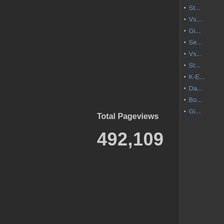St...
Vs...
Gi...
Se...
Vs...
St...
K-E...
Da...
Bo...
Gi...
Total Pageviews
492,109